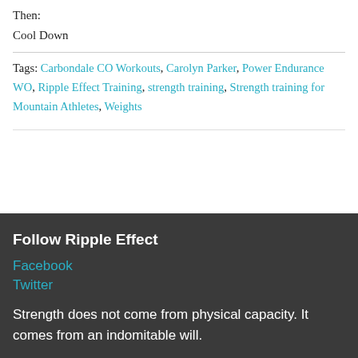Then:
Cool Down
Tags: Carbondale CO Workouts, Carolyn Parker, Power Endurance WO, Ripple Effect Training, strength training, Strength training for Mountain Athletes, Weights
Follow Ripple Effect
Facebook
Twitter
Strength does not come from physical capacity. It comes from an indomitable will.